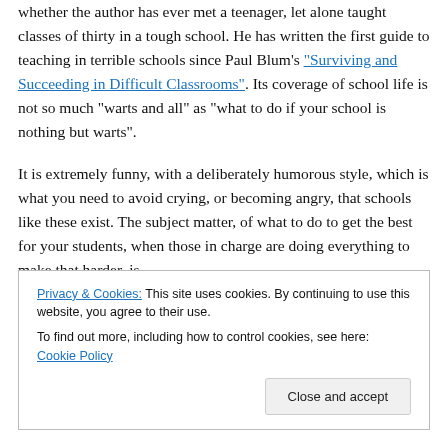whether the author has ever met a teenager, let alone taught classes of thirty in a tough school. He has written the first guide to teaching in terrible schools since Paul Blum's "Surviving and Succeeding in Difficult Classrooms". Its coverage of school life is not so much "warts and all" as "what to do if your school is nothing but warts".
It is extremely funny, with a deliberately humorous style, which is what you need to avoid crying, or becoming angry, that schools like these exist. The subject matter, of what to do to get the best for your students, when those in charge are doing everything to make that harder, is [cut off] age.
Privacy & Cookies: This site uses cookies. By continuing to use this website, you agree to their use. To find out more, including how to control cookies, see here: Cookie Policy
Close and accept